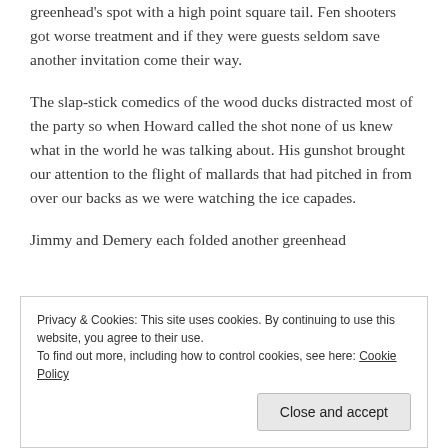greenhead's spot with a high point square tail. Fen shooters got worse treatment and if they were guests seldom save another invitation come their way.
The slap-stick comedics of the wood ducks distracted most of the party so when Howard called the shot none of us knew what in the world he was talking about. His gunshot brought our attention to the flight of mallards that had pitched in from over our backs as we were watching the ice capades.
Jimmy and Demery each folded another greenhead
Privacy & Cookies: This site uses cookies. By continuing to use this website, you agree to their use.
To find out more, including how to control cookies, see here: Cookie Policy
Close and accept